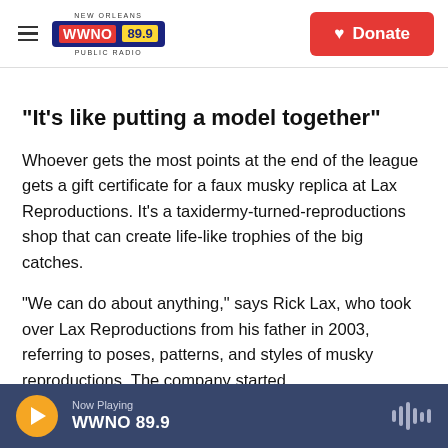NEW ORLEANS WWNO 89.9 PUBLIC RADIO | Donate
"It's like putting a model together"
Whoever gets the most points at the end of the league gets a gift certificate for a faux musky replica at Lax Reproductions. It's a taxidermy-turned-reproductions shop that can create life-like trophies of the big catches.
"We can do about anything," says Rick Lax, who took over Lax Reproductions from his father in 2003, referring to poses, patterns, and styles of musky reproductions. The company started
Now Playing WWNO 89.9